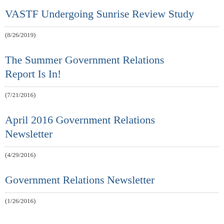VASTF Undergoing Sunrise Review Study
(8/26/2019)
The Summer Government Relations Report Is In!
(7/21/2016)
April 2016 Government Relations Newsletter
(4/29/2016)
Government Relations Newsletter
(1/26/2016)